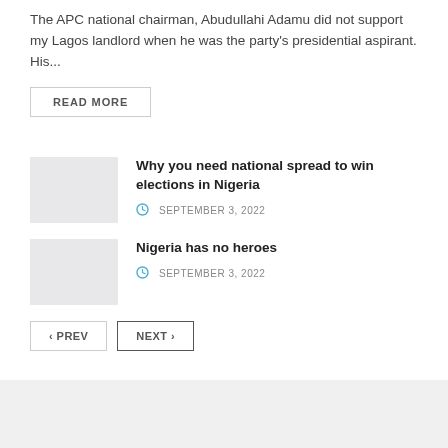The APC national chairman, Abudullahi Adamu did not support my Lagos landlord when he was the party's presidential aspirant. His...
READ MORE
Why you need national spread to win elections in Nigeria
SEPTEMBER 3, 2022
Nigeria has no heroes
SEPTEMBER 3, 2022
PREV  NEXT